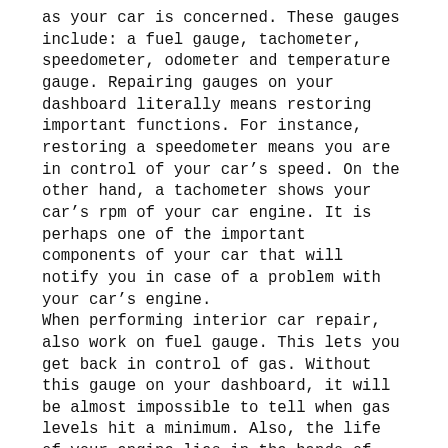as your car is concerned. These gauges include: a fuel gauge, tachometer, speedometer, odometer and temperature gauge. Repairing gauges on your dashboard literally means restoring important functions. For instance, restoring a speedometer means you are in control of your car's speed. On the other hand, a tachometer shows your car's rpm of your car engine. It is perhaps one of the important components of your car that will notify you in case of a problem with your car's engine. When performing interior car repair, also work on fuel gauge. This lets you get back in control of gas. Without this gauge on your dashboard, it will be almost impossible to tell when gas levels hit a minimum. Also, the life of your engine lies in the hands of your dashboard's temperature gauge. Only the temperature gauge will warn you when your car engine overheats. The odometer shows the distance you have driven so far. It is dangerous to drive your car